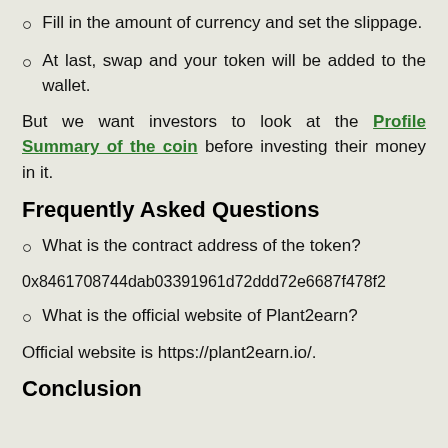Fill in the amount of currency and set the slippage.
At last, swap and your token will be added to the wallet.
But we want investors to look at the Profile Summary of the coin before investing their money in it.
Frequently Asked Questions
What is the contract address of the token?
0x8461708744dab03391961d72ddd72e6687f478f2
What is the official website of Plant2earn?
Official website is https://plant2earn.io/.
Conclusion